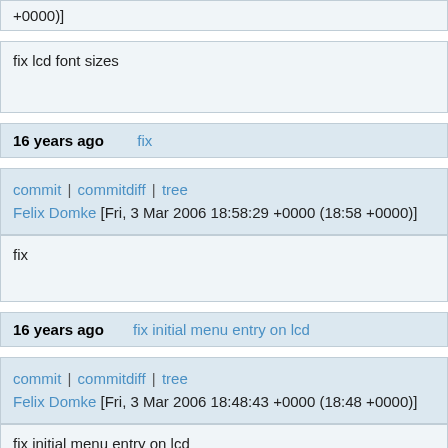+0000)]
fix lcd font sizes
16 years ago   fix
commit | commitdiff | tree
Felix Domke [Fri, 3 Mar 2006 18:58:29 +0000 (18:58 +0000)]
fix
16 years ago   fix initial menu entry on lcd
commit | commitdiff | tree
Felix Domke [Fri, 3 Mar 2006 18:48:43 +0000 (18:48 +0000)]
fix initial menu entry on lcd